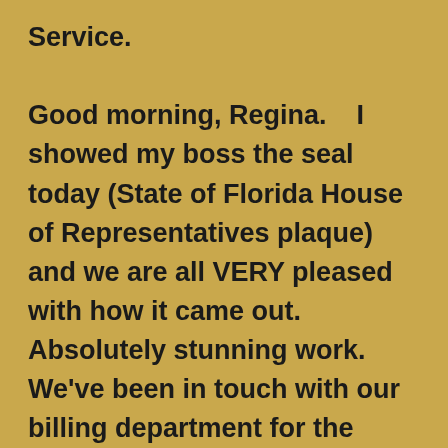Service.

Good morning, Regina.    I showed my boss the seal today (State of Florida House of Representatives plaque) and we are all VERY pleased with how it came out. Absolutely stunning work. We've been in touch with our billing department for the remaining balance due and you should receive payment soon. My boss is already wanting to get more of these.How much per seal, is there a discount for batch orders, and what other texture/colors do you have access to? Thanks